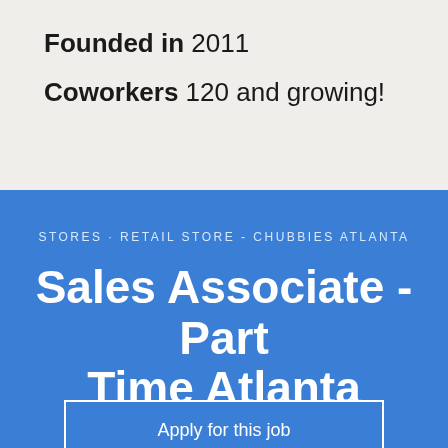Founded in 2011
Coworkers 120 and growing!
STORES · RETAIL STORE - CHUBBIES ATLANTA
Sales Associate - Part Time Atlanta
Apply for this job
Chubbies is a company that prides itself on delivering the ultimate Weekend